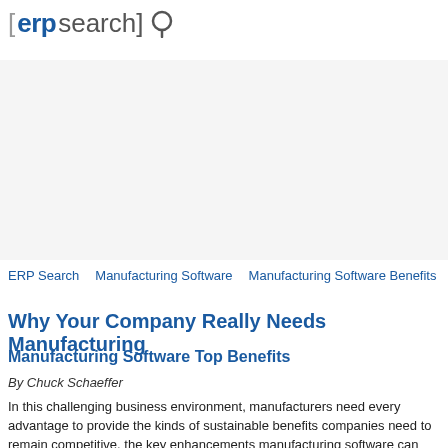[erpsearch]
[Figure (other): Advertisement banner area (blank/white space)]
ERP Search   Manufacturing Software   Manufacturing Software Benefits
Why Your Company Really Needs Manufacturing
Manufacturing Software Top Benefits
By Chuck Schaeffer
In this challenging business environment, manufacturers need every advantage to provide the kinds of sustainable benefits companies need to remain competitive. the key enhancements manufacturing software can deliver are better production reporting, decreased operational costs, lower cycle times and reduced lead times. ignore that?